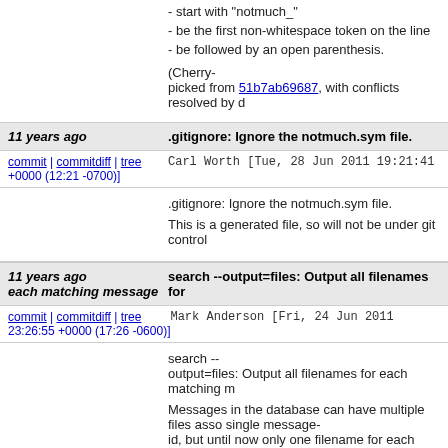- start with "notmuch_"
- be the first non-whitespace token on the line
- be followed by an open parenthesis.

(Cherry-picked from 51b7ab69687, with conflicts resolved by d
11 years ago   .gitignore: Ignore the notmuch.sym file.
commit | commitdiff | tree   Carl Worth [Tue, 28 Jun 2011 19:21:41 +0000 (12:21 -0700)]
.gitignore: Ignore the notmuch.sym file.

This is a generated file, so will not be under git control
11 years ago   search --output=files: Output all filenames for each matching message
commit | commitdiff | tree   Mark Anderson [Fri, 24 Jun 2011 23:26:55 +0000 (17:26 -0600)]
search --
output=files: Output all filenames for each matching m

Messages in the database can have multiple files asso single message-
id, but until now only one filename for each message has been reported by "notmuch search --
output=files"